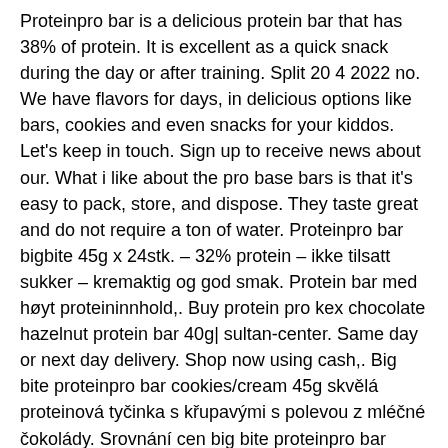Proteinpro bar is a delicious protein bar that has 38% of protein. It is excellent as a quick snack during the day or after training. Split 20 4 2022 no. We have flavors for days, in delicious options like bars, cookies and even snacks for your kiddos. Let's keep in touch. Sign up to receive news about our. What i like about the pro base bars is that it's easy to pack, store, and dispose. They taste great and do not require a ton of water. Proteinpro bar bigbite 45g x 24stk. – 32% protein – ikke tilsatt sukker – kremaktig og god smak. Protein bar med høyt proteininnhold,. Buy protein pro kex chocolate hazelnut protein bar 40g| sultan-center. Same day or next day delivery. Shop now using cash,. Big bite proteinpro bar cookies/cream 45g skvělá proteinová tyčinka s křupavými s polevou z mléčné čokolády. Srovnání cen big bite proteinpro bar cookie -.
Tvp stands for textured vegetable protein.